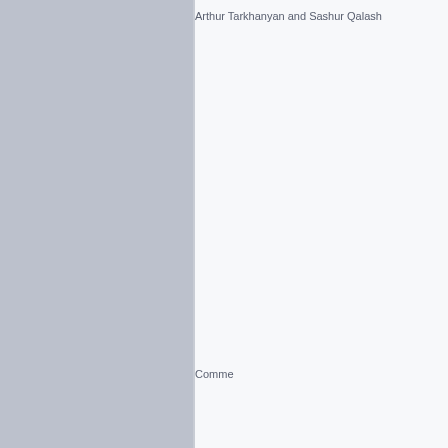Arthur Tarkhanyan and Sashur Qalash
Comme